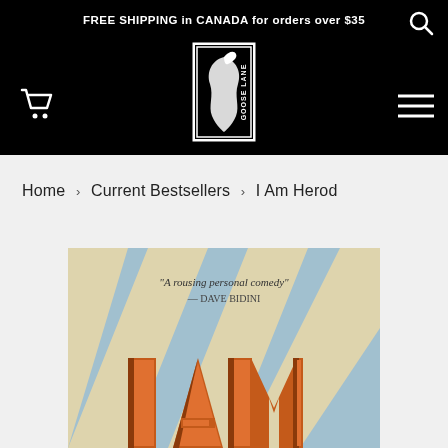FREE SHIPPING in CANADA for orders over $35
[Figure (logo): Goose Lane Editions publisher logo — black and white rectangular logo with a goose silhouette and 'GOOSE LANE' text]
Home › Current Bestsellers › I Am Herod
[Figure (photo): Book cover of 'I Am Herod' showing large orange and brown block letters 'I AM' on a light blue striped background, with a quote: 'A rousing personal comedy' — DAVE BIDINI]